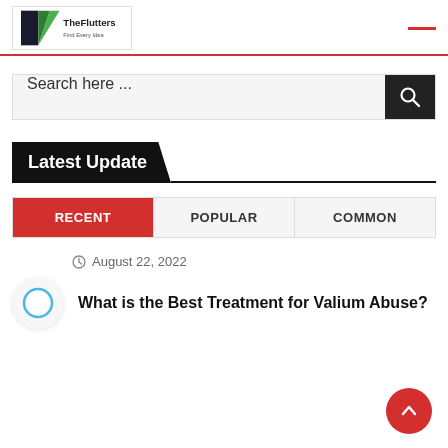[Figure (logo): TheFlutters logo with triangular shapes in black, dark teal, and green]
Search here ...
Latest Update
RECENT | POPULAR | COMMON
August 22, 2022
What is the Best Treatment for Valium Abuse?